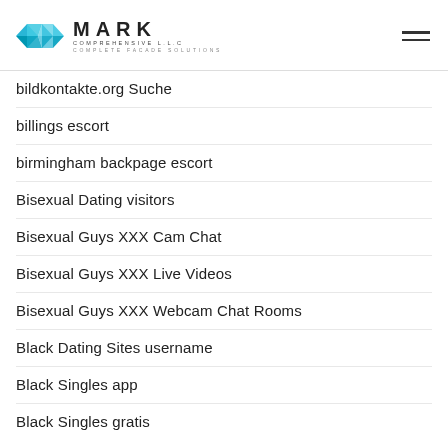[Figure (logo): Mark Comprehensive LLC logo with blue geometric diamond/facet icon and company name. Tagline: Complete Facade Solutions.]
bildkontakte.org Suche
billings escort
birmingham backpage escort
Bisexual Dating visitors
Bisexual Guys XXX Cam Chat
Bisexual Guys XXX Live Videos
Bisexual Guys XXX Webcam Chat Rooms
Black Dating Sites username
Black Singles app
Black Singles gratis